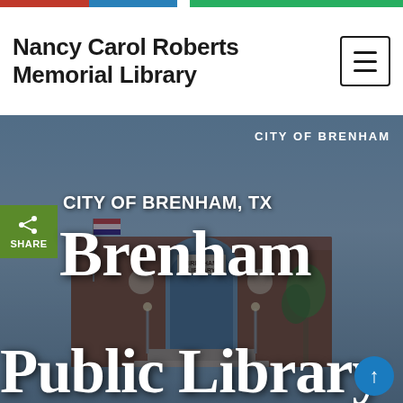Nancy Carol Roberts Memorial Library
[Figure (photo): Exterior photo of Brenham Public Library (Nancy Carol Roberts Memorial Library), a brick building with arched entrance window and 'BRENHAM LIBRARY' sign, American flag visible, trees in background, overlaid with semi-transparent dark tint]
CITY OF BRENHAM
CITY OF BRENHAM, TX
Brenham Public Library